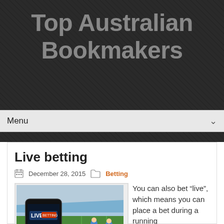Top Australian Bookmakers
Menu
Live betting
December 28, 2015   Betting
[Figure (photo): A hand holding a smartphone showing a live betting app with 'LIVE BETTING' and 'American Football' options on screen, with a rugby/football match in the stadium background with players in blue uniforms.]
You can also bet “live”, which means you can place a bet during a running